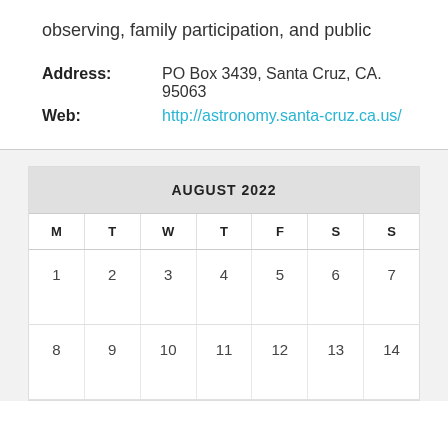observing, family participation, and public
Address: PO Box 3439, Santa Cruz, CA. 95063
Web: http://astronomy.santa-cruz.ca.us/
| M | T | W | T | F | S | S |
| --- | --- | --- | --- | --- | --- | --- |
| 1 | 2 | 3 | 4 | 5 | 6 | 7 |
| 8 | 9 | 10 | 11 | 12 | 13 | 14 |